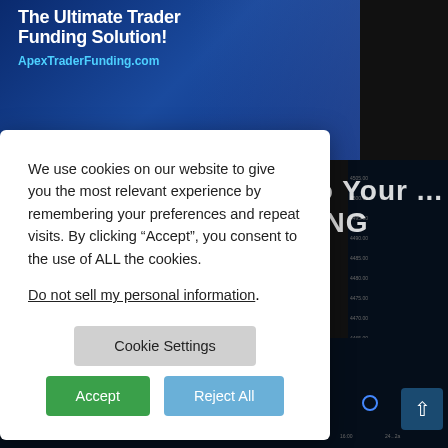[Figure (screenshot): Dark blue advertisement banner for ApexTraderFunding.com with text 'The Ultimate Trader Funding Solution!' and a man in suit celebrating at laptop]
[Figure (screenshot): Dark background financial trading chart with candlesticks, price axis on right, and blue circle markers on the chart]
We use cookies on our website to give you the most relevant experience by remembering your preferences and repeat visits. By clicking “Accept”, you consent to the use of ALL the cookies.
Do not sell my personal information.
Cookie Settings
Accept
Reject All